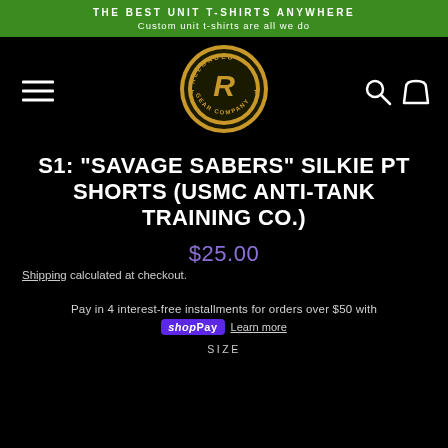THE BEST UNIT T-SHIRTS ANYWHERE
Custom unit t-shirts are all we do
[Figure (logo): Reloaded Gear Company circular gold and black logo with letter R in center and stars]
S1: "SAVAGE SABERS" SILKIE PT SHORTS (USMC ANTI-TANK TRAINING CO.)
$25.00
Shipping calculated at checkout.
Pay in 4 interest-free installments for orders over $50 with shop Pay Learn more
SIZE